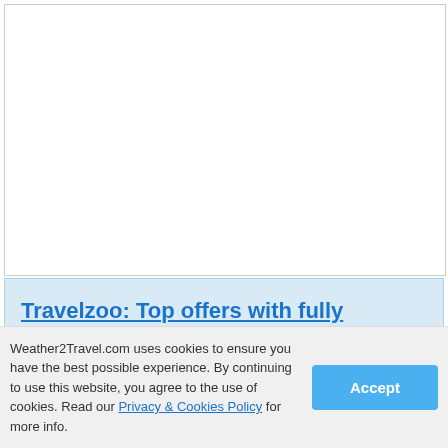[Figure (other): Empty white box placeholder area at the top of the page]
Travelzoo: Top offers with fully refundable vouchers
[Figure (logo): Travelzoo logo in a white box with blue and red text, and a red Sale button below]
Save on hotels, restaurants, spas & more with Travelzoo
Book online with fully refundable vouchers
Filter vouchers by theme, price,
Weather2Travel.com uses cookies to ensure you have the best possible experience. By continuing to use this website, you agree to the use of cookies. Read our Privacy & Cookies Policy for more info.